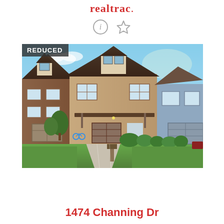realtrac.
[Figure (photo): Exterior photo of a brick townhouse/home with garage, front yard with bushes and trees, blue sky. A 'REDUCED' badge overlay in the top-left corner.]
1474 Channing Dr